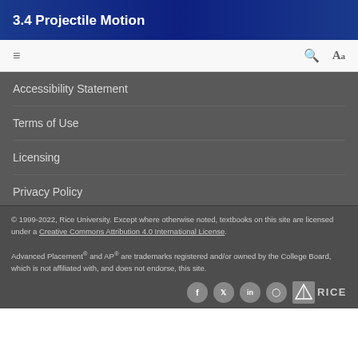3.4 Projectile Motion
Accessibility Statement
Terms of Use
Licensing
Privacy Policy
© 1999-2022, Rice University. Except where otherwise noted, textbooks on this site are licensed under a Creative Commons Attribution 4.0 International License.
Advanced Placement® and AP® are trademarks registered and/or owned by the College Board, which is not affiliated with, and does not endorse, this site.